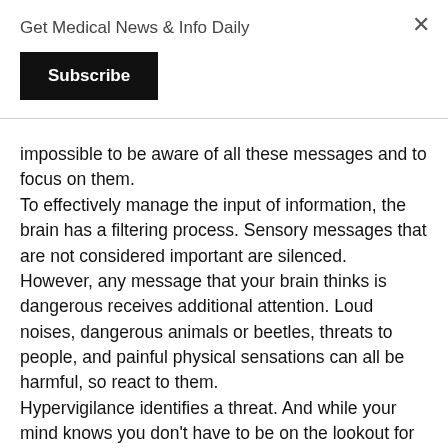Get Medical News & Info Daily
Subscribe
impossible to be aware of all these messages and to focus on them.
To effectively manage the input of information, the brain has a filtering process. Sensory messages that are not considered important are silenced.
However, any message that your brain thinks is dangerous receives additional attention. Loud noises, dangerous animals or beetles, threats to people, and painful physical sensations can all be harmful, so react to them.
Hypervigilance identifies a threat. And while your mind knows you don't have to be on the lookout for dangerous animals like wolves or lions in an urban apartment building, you can listen in dismay to any sign of an elevator malfunction while others chat or check their phones